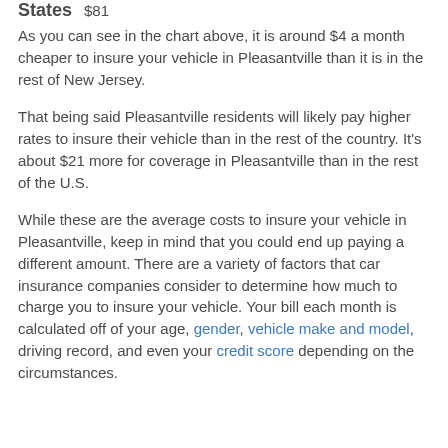States  $81
As you can see in the chart above, it is around $4 a month cheaper to insure your vehicle in Pleasantville than it is in the rest of New Jersey.
That being said Pleasantville residents will likely pay higher rates to insure their vehicle than in the rest of the country. It's about $21 more for coverage in Pleasantville than in the rest of the U.S.
While these are the average costs to insure your vehicle in Pleasantville, keep in mind that you could end up paying a different amount. There are a variety of factors that car insurance companies consider to determine how much to charge you to insure your vehicle. Your bill each month is calculated off of your age, gender, vehicle make and model, driving record, and even your credit score depending on the circumstances.